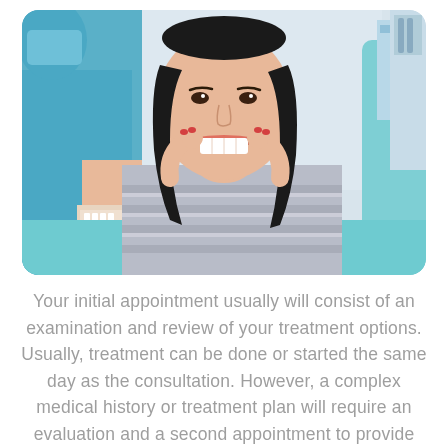[Figure (photo): A young woman sitting in a dental chair, smiling and pulling the corners of her mouth apart with her fingers to show her teeth. A dental professional in blue scrubs is partially visible on the left, holding a dental model. The setting is a dental clinic with teal/turquoise dental equipment visible.]
Your initial appointment usually will consist of an examination and review of your treatment options. Usually, treatment can be done or started the same day as the consultation. However, a complex medical history or treatment plan will require an evaluation and a second appointment to provide treatment on another day.